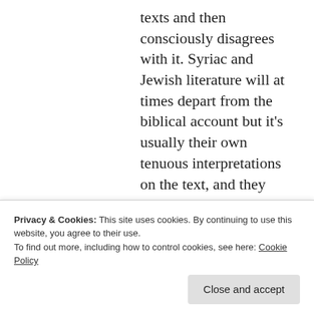texts and then consciously disagrees with it. Syriac and Jewish literature will at times depart from the biblical account but it's usually their own tenuous interpretations on the text, and they will never depart so much as the Qur'an does consciously.
Finally, the position that previous scripture is corrupt only needs to be a *plausible*
Privacy & Cookies: This site uses cookies. By continuing to use this website, you agree to their use.
To find out more, including how to control cookies, see here: Cookie Policy
historical evidence shows